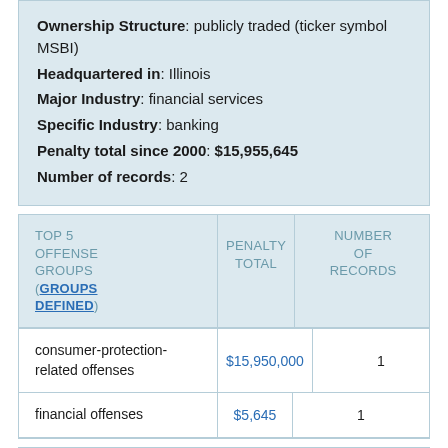Ownership Structure: publicly traded (ticker symbol MSBI)
Headquartered in: Illinois
Major Industry: financial services
Specific Industry: banking
Penalty total since 2000: $15,955,645
Number of records: 2
| TOP 5 OFFENSE GROUPS (GROUPS DEFINED) | PENALTY TOTAL | NUMBER OF RECORDS |
| --- | --- | --- |
| consumer-protection-related offenses | $15,950,000 | 1 |
| financial offenses | $5,645 | 1 |